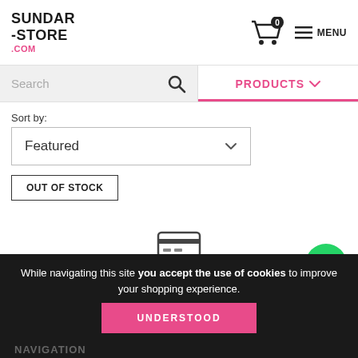[Figure (logo): SUNDAR-STORE.COM logo in black bold text with .com in pink]
[Figure (illustration): Shopping cart icon with 0 badge and hamburger menu icon with MENU text]
[Figure (illustration): Search bar with magnifying glass icon on grey background]
PRODUCTS
Sort by:
Featured
OUT OF STOCK
[Figure (illustration): Credit card icon]
UP TO 6 INTEREST FREE
With credit cards.*
While navigating this site you accept the use of cookies to improve your shopping experience.
NAVIGATION
UNDERSTOOD